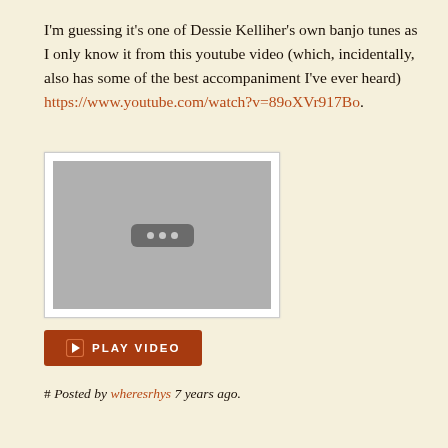I'm guessing it's one of Dessie Kelliher's own banjo tunes as I only know it from this youtube video (which, incidentally, also has some of the best accompaniment I've ever heard) https://www.youtube.com/watch?v=89oXVr917Bo.
[Figure (screenshot): Video thumbnail placeholder showing grey box with three dots icon]
PLAY VIDEO
# Posted by wheresrhys 7 years ago.
Turns out it's just a version of…
https://thesession.org/tunes/9412
# Posted by ...